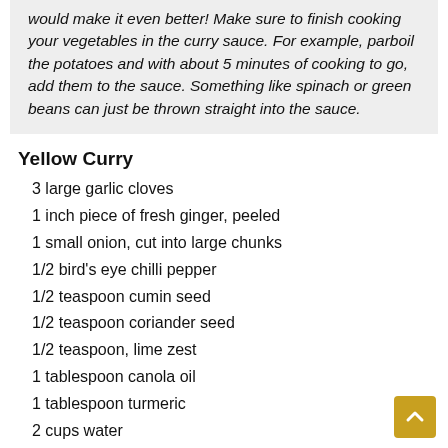would make it even better! Make sure to finish cooking your vegetables in the curry sauce. For example, parboil the potatoes and with about 5 minutes of cooking to go, add them to the sauce. Something like spinach or green beans can just be thrown straight into the sauce.
Yellow Curry
3 large garlic cloves
1 inch piece of fresh ginger, peeled
1 small onion, cut into large chunks
1/2 bird's eye chilli pepper
1/2 teaspoon cumin seed
1/2 teaspoon coriander seed
1/2 teaspoon, lime zest
1 tablespoon canola oil
1 tablespoon turmeric
2 cups water
4 teaspoons brown sugar
2 tablespoons fresh lime juice